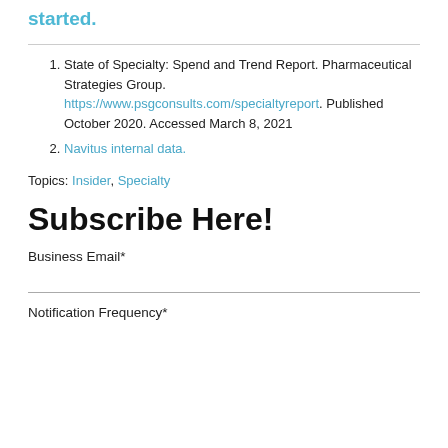started.
State of Specialty: Spend and Trend Report. Pharmaceutical Strategies Group. https://www.psgconsults.com/specialtyreport. Published October 2020. Accessed March 8, 2021
Navitus internal data.
Topics: Insider, Specialty
Subscribe Here!
Business Email*
Notification Frequency*